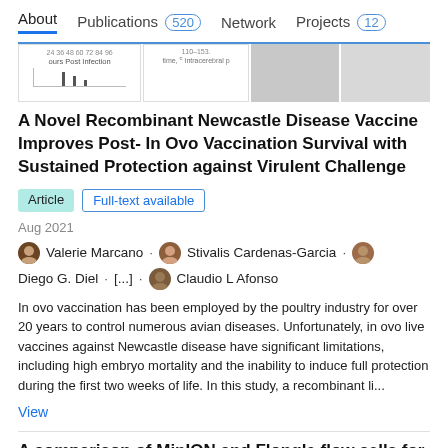About   Publications 520   Network   Projects 12
[Figure (screenshot): Partial scientific figure strip showing chart axes, bar graphs, time labels, and intracerebral data panels]
A Novel Recombinant Newcastle Disease Vaccine Improves Post- In Ovo Vaccination Survival with Sustained Protection against Virulent Challenge
Article   Full-text available
Aug 2021
Valerie Marcano · Stivalis Cardenas-Garcia · Diego G. Diel · [...] · Claudio L Afonso
In ovo vaccination has been employed by the poultry industry for over 20 years to control numerous avian diseases. Unfortunately, in ovo live vaccines against Newcastle disease have significant limitations, including high embryo mortality and the inability to induce full protection during the first two weeks of life. In this study, a recombinant li...
View
A comparison of MinION and Flongle flow cells for the rapid